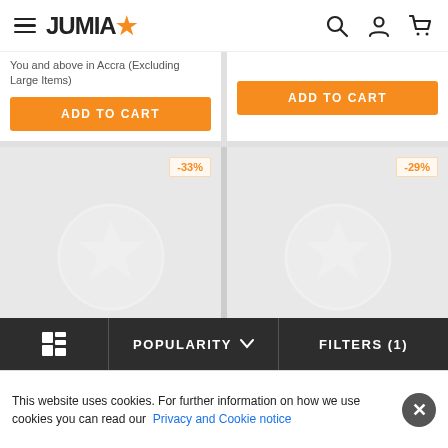JUMIA (logo with star icon), search icon, account icon, cart icon
You and above in Accra (Excluding Large Items)
ADD TO CART
ADD TO CART
[Figure (other): Product placeholder image with -33% discount badge]
[Figure (other): Product placeholder image with -29% discount badge]
POPULARITY ▾
FILTERS (1)
This website uses cookies. For further information on how we use cookies you can read our Privacy and Cookie notice